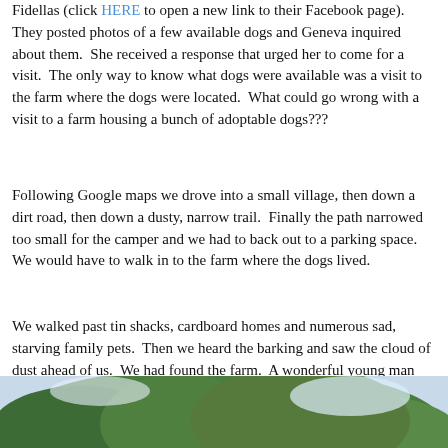Fidellas (click HERE to open a new link to their Facebook page). They posted photos of a few available dogs and Geneva inquired about them. She received a response that urged her to come for a visit. The only way to know what dogs were available was a visit to the farm where the dogs were located. What could go wrong with a visit to a farm housing a bunch of adoptable dogs???
Following Google maps we drove into a small village, then down a dirt road, then down a dusty, narrow trail. Finally the path narrowed too small for the camper and we had to back out to a parking space. We would have to walk in to the farm where the dogs lived.
We walked past tin shacks, cardboard homes and numerous sad, starving family pets. Then we heard the barking and saw the cloud of dust ahead of us. We had found the farm. A wonderful young man opened the gate and welcomed us in over the din of barking.
[Figure (photo): Partial photo showing trees with green foliage against a light sky, suggesting a rural farm setting]